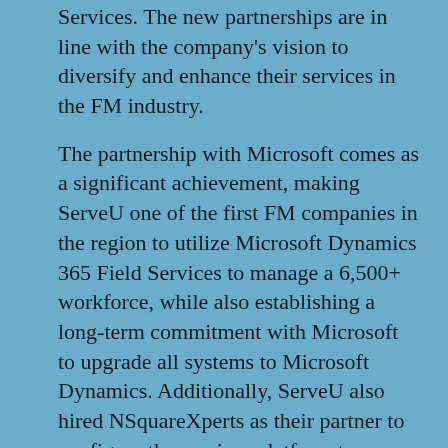Services. The new partnerships are in line with the company's vision to diversify and enhance their services in the FM industry.
The partnership with Microsoft comes as a significant achievement, making ServeU one of the first FM companies in the region to utilize Microsoft Dynamics 365 Field Services to manage a 6,500+ workforce, while also establishing a long-term commitment with Microsoft to upgrade all systems to Microsoft Dynamics. Additionally, ServeU also hired NSquareXperts as their partner to configure the services platform to automate their existing operations, such as generation of planned preventive tasks, scheduling work forces for both hard and soft services, and integrating the Microsoft System with finance, procurement, HR, and customer service.